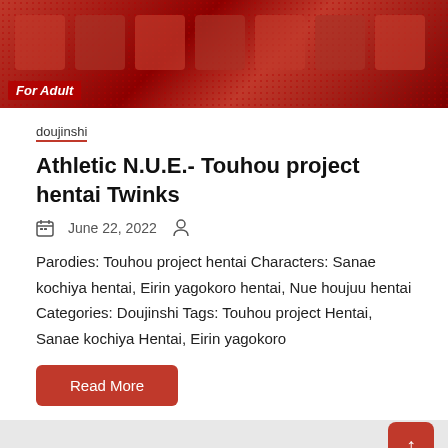[Figure (illustration): Red/dark red anime-style banner image with 'For Adult' label at bottom left]
doujinshi
Athletic N.U.E.- Touhou project hentai Twinks
June 22, 2022
Parodies: Touhou project hentai Characters: Sanae kochiya hentai, Eirin yagokoro hentai, Nue houjuu hentai Categories: Doujinshi Tags: Touhou project Hentai, Sanae kochiya Hentai, Eirin yagokoro
Read More
[Figure (illustration): Anime-style illustration at the bottom, partial view]